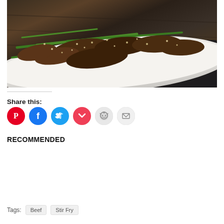[Figure (photo): Food photo: a white rectangular plate with stir-fried beef and green beans topped with sesame seeds, placed on a wooden surface with a dark cloth napkin]
Share this:
[Figure (infographic): Social share buttons: Pinterest (red), Facebook (blue), Twitter (cyan), Pocket (red/pink), Reddit (light grey), Email (light grey)]
RECOMMENDED
Tags: Beef  Stir Fry